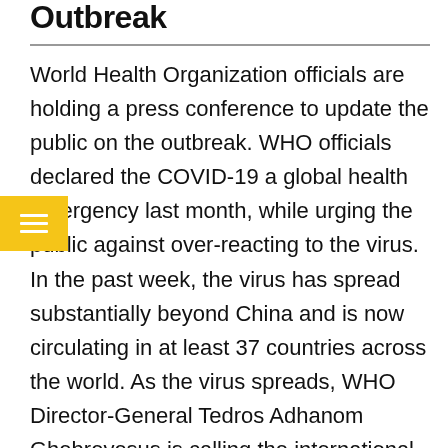Outbreak
World Health Organization officials are holding a press conference to update the public on the outbreak. WHO officials declared the COVID-19 a global health emergency last month, while urging the public against over-reacting to the virus. In the past week, the virus has spread substantially beyond China and is now circulating in at least 37 countries across the world. As the virus spreads, WHO Director-General Tedros Adhanom Ghebreyesus is calling the international community to action before it’s too late. “The window of opportunity is still there, but our window of opportunity is narrowing,” he said last week. “We need to act quickly before it closes completely.”